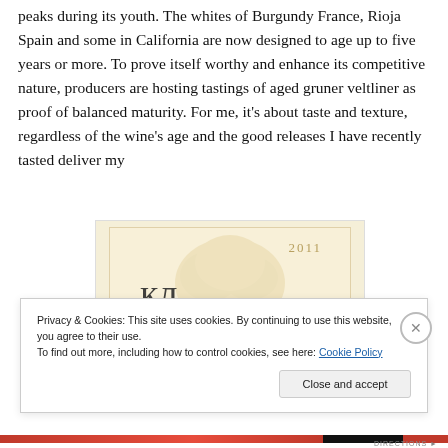peaks during its youth.  The whites of Burgundy France, Rioja Spain and some in California are now designed to age up to five years or more.  To prove itself worthy and enhance its competitive nature, producers are hosting tastings of aged gruner veltliner as proof of balanced maturity. For me, it's about taste and texture, regardless of the wine's age and the good releases I have recently tasted deliver my
[Figure (illustration): A wine bottle label from 2011 with decorative script text and a tree motif in the background, warm cream and gold tones.]
Privacy & Cookies: This site uses cookies. By continuing to use this website, you agree to their use.
To find out more, including how to control cookies, see here: Cookie Policy
Close and accept